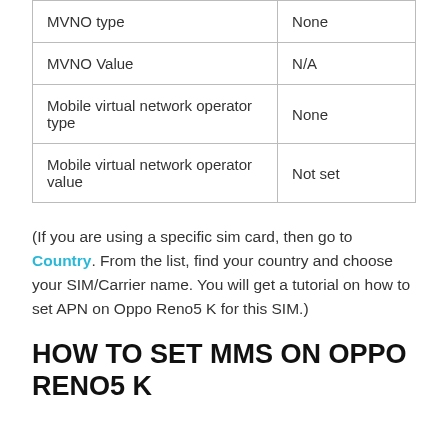| MVNO type | None |
| MVNO Value | N/A |
| Mobile virtual network operator type | None |
| Mobile virtual network operator value | Not set |
(If you are using a specific sim card, then go to Country. From the list, find your country and choose your SIM/Carrier name. You will get a tutorial on how to set APN on Oppo Reno5 K for this SIM.)
HOW TO SET MMS ON OPPO RENO5 K